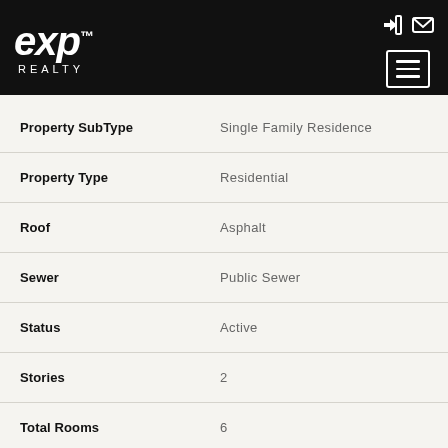[Figure (logo): eXp Realty logo in white on black background, with hamburger menu icon and header icons]
| Property | Value |
| --- | --- |
| Property SubType | Single Family Residence |
| Property Type | Residential |
| Roof | Asphalt |
| Sewer | Public Sewer |
| Status | Active |
| Stories | 2 |
| Total Rooms | 6 |
| Virtual Tour | https://ths.li/aRg9LT |